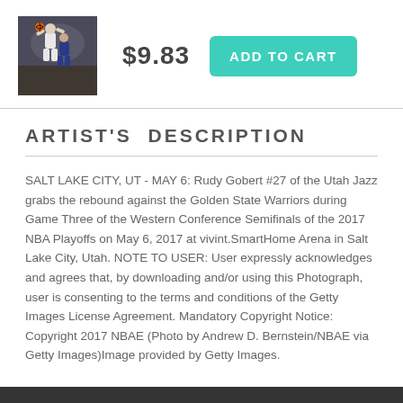[Figure (photo): Thumbnail product image of basketball player (Rudy Gobert) in action on court]
$9.83
ADD TO CART
ARTIST'S  DESCRIPTION
SALT LAKE CITY, UT - MAY 6: Rudy Gobert #27 of the Utah Jazz grabs the rebound against the Golden State Warriors during Game Three of the Western Conference Semifinals of the 2017 NBA Playoffs on May 6, 2017 at vivint.SmartHome Arena in Salt Lake City, Utah. NOTE TO USER: User expressly acknowledges and agrees that, by downloading and/or using this Photograph, user is consenting to the terms and conditions of the Getty Images License Agreement. Mandatory Copyright Notice: Copyright 2017 NBAE (Photo by Andrew D. Bernstein/NBAE via Getty Images)Image provided by Getty Images.